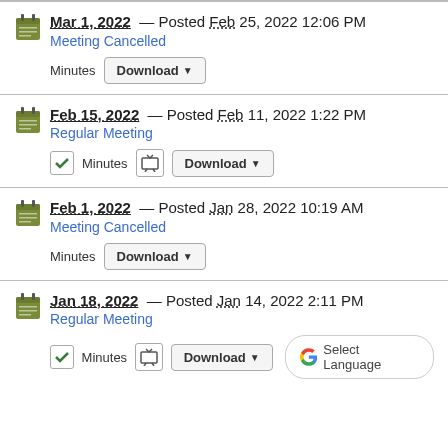Mar 1, 2022 — Posted Feb 25, 2022 12:06 PM
Meeting Cancelled
Minutes Download
Feb 15, 2022 — Posted Feb 11, 2022 1:22 PM
Regular Meeting
Minutes Download
Feb 1, 2022 — Posted Jan 28, 2022 10:19 AM
Meeting Cancelled
Minutes Download
Jan 18, 2022 — Posted Jan 14, 2022 2:11 PM
Regular Meeting
Minutes Download Select Language